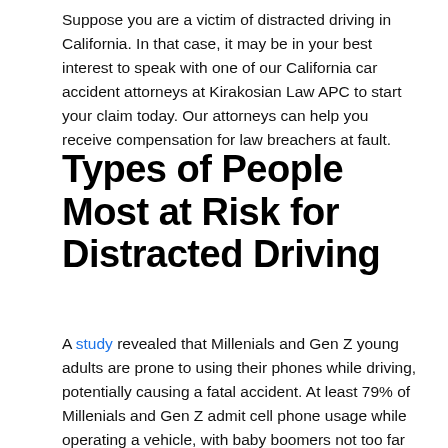Suppose you are a victim of distracted driving in California. In that case, it may be in your best interest to speak with one of our California car accident attorneys at Kirakosian Law APC to start your claim today. Our attorneys can help you receive compensation for law breachers at fault.
Types of People Most at Risk for Distracted Driving
A study revealed that Millenials and Gen Z young adults are prone to using their phones while driving, potentially causing a fatal accident. At least 79% of Millenials and Gen Z admit cell phone usage while operating a vehicle, with baby boomers not too far